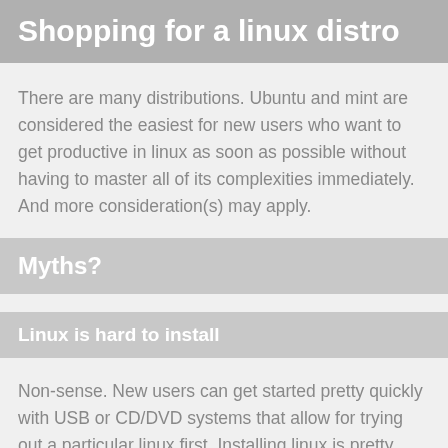Shopping for a linux distro
There are many distributions. Ubuntu and mint are considered the easiest for new users who want to get productive in linux as soon as possible without having to master all of its complexities immediately. And more consideration(s) may apply.
Myths?
Linux is hard to install
Non-sense. New users can get started pretty quickly with USB or CD/DVD systems that allow for trying out a particular linux first. Installing linux is pretty easy these days, but getting everything to work exactly the way you